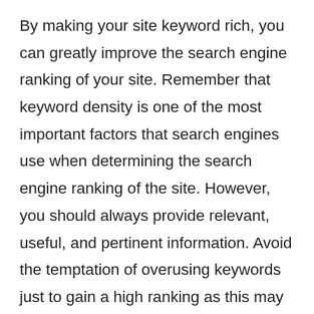By making your site keyword rich, you can greatly improve the search engine ranking of your site. Remember that keyword density is one of the most important factors that search engines use when determining the search engine ranking of the site. However, you should always provide relevant, useful, and pertinent information. Avoid the temptation of overusing keywords just to gain a high ranking as this may turn off most web surfers. Relevance and quality are still the most important things to consider when writing articles, and it will be doubly useful to your site if you make these articles